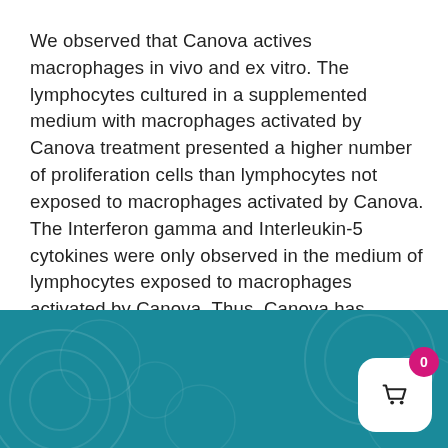We observed that Canova actives macrophages in vivo and ex vitro. The lymphocytes cultured in a supplemented medium with macrophages activated by Canova treatment presented a higher number of proliferation cells than lymphocytes not exposed to macrophages activated by Canova. The Interferon gamma and Interleukin-5 cytokines were only observed in the medium of lymphocytes exposed to macrophages activated by Canova. Thus, Canova has potential as a new adjuvant therapy.
[Figure (other): Teal/dark cyan footer banner with decorative circular patterns and a white shopping cart button with a pink badge showing 0]